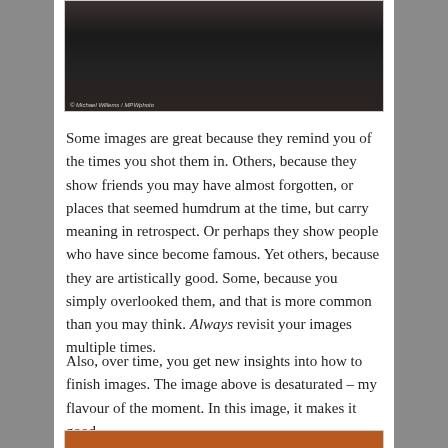[Figure (photo): Portrait photograph of a person in a black leather jacket with hoop earrings, credited to Michael Willems / MPWphoto]
Some images are great because they remind you of the times you shot them in. Others, because they show friends you may have almost forgotten, or places that seemed humdrum at the time, but carry meaning in retrospect. Or perhaps they show people who have since become famous. Yet others, because they are artistically good. Some, because you simply overlooked them, and that is more common than you may think. Always revisit your images multiple times.
Also, over time, you get new insights into how to finish images. The image above is desaturated – my flavour of the moment. In this image, it makes it good.
[Figure (photo): Partial view of another photograph at the bottom of the page, showing warm orange/brown tones]